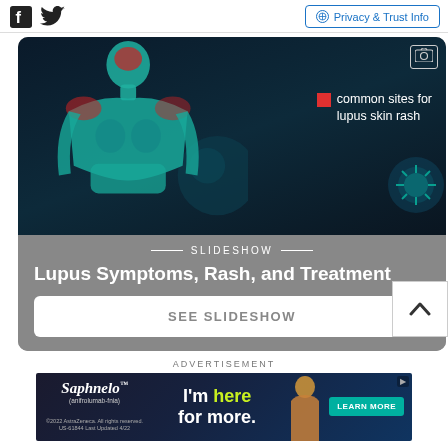Facebook Twitter | Privacy & Trust Info
[Figure (photo): Medical illustration of a human torso/body silhouette with red highlighted areas indicating common sites for lupus skin rash, on a dark teal/blue background. A legend shows a red square labeled 'common sites for lupus skin rash'.]
Lupus Symptoms, Rash, and Treatment
SEE SLIDESHOW
ADVERTISEMENT
[Figure (photo): Advertisement banner for Saphnelo (anifrolumab-fnia) by AstraZeneca. Text reads: I'm here for more. LEARN MORE. ©2022 AstraZeneca. All rights reserved. US-61844 Last Updated 4/22]